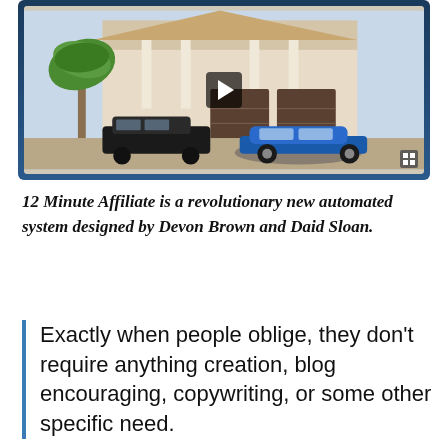[Figure (screenshot): Video thumbnail showing a luxury house with a blue sports car (Lamborghini) and black SUV in the driveway, with a palm tree. A play button is overlaid in the center. The video player is framed in a dark blue/navy border.]
12 Minute Affiliate is a revolutionary new automated system designed by Devon Brown and Daid Sloan.
Exactly when people oblige, they don't require anything creation, blog encouraging, copywriting, or some other specific need.